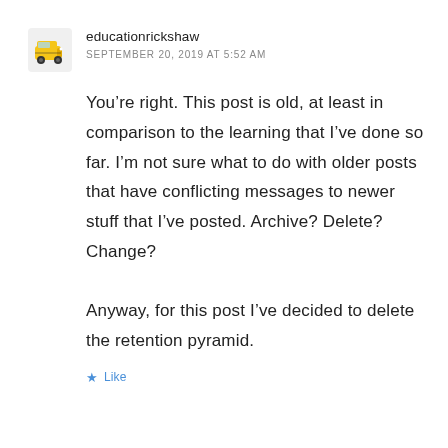[Figure (illustration): Auto-rickshaw emoji icon used as avatar]
educationrickshaw
SEPTEMBER 20, 2019 AT 5:52 AM
You’re right. This post is old, at least in comparison to the learning that I’ve done so far. I’m not sure what to do with older posts that have conflicting messages to newer stuff that I’ve posted. Archive? Delete? Change?

Anyway, for this post I’ve decided to delete the retention pyramid.
Like